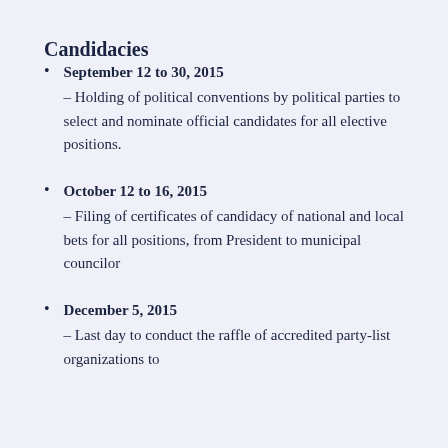Candidacies
September 12 to 30, 2015 – Holding of political conventions by political parties to select and nominate official candidates for all elective positions.
October 12 to 16, 2015 – Filing of certificates of candidacy of national and local bets for all positions, from President to municipal councilor
December 5, 2015 – Last day to conduct the raffle of accredited party-list organizations to determine their order of listing on the ballot